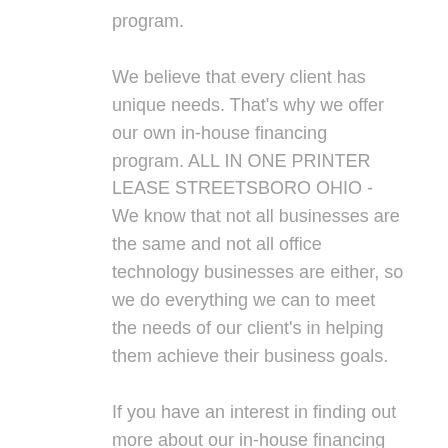program.
We believe that every client has unique needs. That's why we offer our own in-house financing program. ALL IN ONE PRINTER LEASE STREETSBORO OHIO - We know that not all businesses are the same and not all office technology businesses are either, so we do everything we can to meet the needs of our client's in helping them achieve their business goals.
If you have an interest in finding out more about our in-house financing program or if you just wish to have a discussion concerning your service needs, call us and also ask for a conference with among our business modern technology